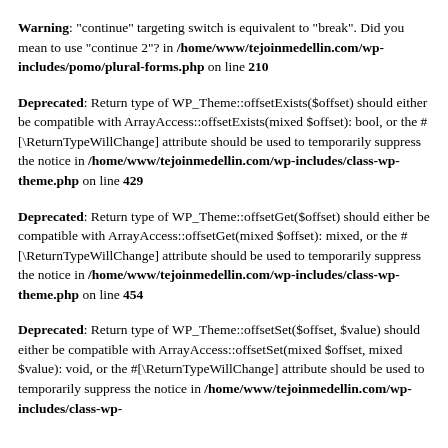Warning: "continue" targeting switch is equivalent to "break". Did you mean to use "continue 2"? in /home/www/tejoinmedellin.com/wp-includes/pomo/plural-forms.php on line 210
Deprecated: Return type of WP_Theme::offsetExists($offset) should either be compatible with ArrayAccess::offsetExists(mixed $offset): bool, or the #[\ReturnTypeWillChange] attribute should be used to temporarily suppress the notice in /home/www/tejoinmedellin.com/wp-includes/class-wp-theme.php on line 429
Deprecated: Return type of WP_Theme::offsetGet($offset) should either be compatible with ArrayAccess::offsetGet(mixed $offset): mixed, or the #[\ReturnTypeWillChange] attribute should be used to temporarily suppress the notice in /home/www/tejoinmedellin.com/wp-includes/class-wp-theme.php on line 454
Deprecated: Return type of WP_Theme::offsetSet($offset, $value) should either be compatible with ArrayAccess::offsetSet(mixed $offset, mixed $value): void, or the #[\ReturnTypeWillChange] attribute should be used to temporarily suppress the notice in /home/www/tejoinmedellin.com/wp-includes/class-wp-theme.php